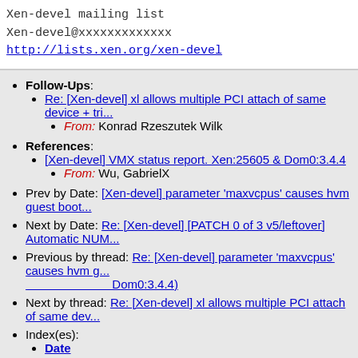Xen-devel mailing list
Xen-devel@xxxxxxxxxxxxx
http://lists.xen.org/xen-devel
Follow-Ups: Re: [Xen-devel] xl allows multiple PCI attach of same device + tri... From: Konrad Rzeszutek Wilk
References: [Xen-devel] VMX status report. Xen:25605 & Dom0:3.4.4 From: Wu, GabrielX
Prev by Date: [Xen-devel] parameter 'maxvcpus' causes hvm guest boot...
Next by Date: Re: [Xen-devel] [PATCH 0 of 3 v5/leftover] Automatic NUM...
Previous by thread: Re: [Xen-devel] parameter 'maxvcpus' causes hvm g... Dom0:3.4.4)
Next by thread: Re: [Xen-devel] xl allows multiple PCI attach of same dev...
Index(es): Date Thread